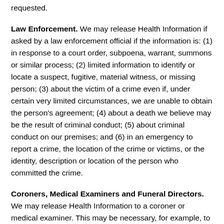requested.
Law Enforcement.  We may release Health Information if asked by a law enforcement official if the information is: (1) in response to a court order, subpoena, warrant, summons or similar process; (2) limited information to identify or locate a suspect, fugitive, material witness, or missing person; (3) about the victim of a crime even if, under certain very limited circumstances, we are unable to obtain the person's agreement; (4) about a death we believe may be the result of criminal conduct; (5) about criminal conduct on our premises; and (6) in an emergency to report a crime, the location of the crime or victims, or the identity, description or location of the person who committed the crime.
Coroners, Medical Examiners and Funeral Directors.  We may release Health Information to a coroner or medical examiner.  This may be necessary, for example, to identify a